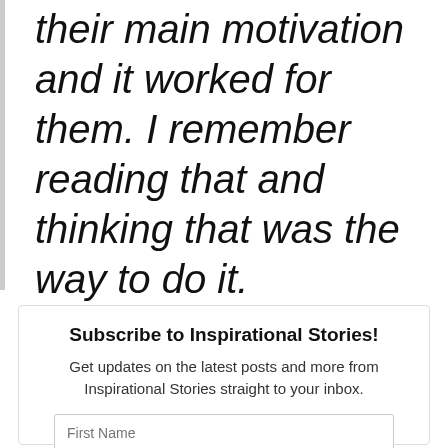their main motivation and it worked for them. I remember reading that and thinking that was the way to do it.
Subscribe to Inspirational Stories!
Get updates on the latest posts and more from Inspirational Stories straight to your inbox.